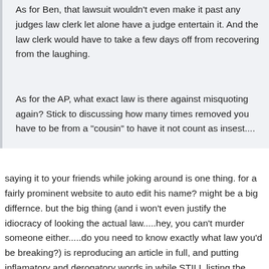As for Ben, that lawsuit wouldn't even make it past any judges law clerk let alone have a judge entertain it. And the law clerk would have to take a few days off from recovering from the laughing.
As for the AP, what exact law is there against misquoting again? Stick to discussing how many times removed you have to be from a "cousin" to have it not count as insest....
saying it to your friends while joking around is one thing. for a fairly prominent website to auto edit his name? might be a big differnce. but the big thing (and i won't even justify the idiocracy of looking the actual law.....hey, you can't murder someone either.....do you need to know exactly what law you'd be breaking?) is reproducing an article in full, and putting inflamatory and derogatory words in while STILL listing the original author. i KNOW the author of that article could file a "cease and desist"